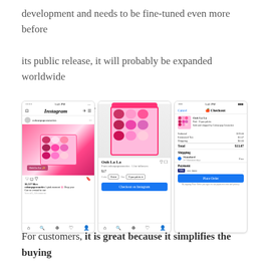development and needs to be fine-tuned even more before its public release, it will probably be expanded worldwide when the bugs are worked out.
[Figure (screenshot): Three mobile screenshots showing Instagram shopping feature: an Instagram post of a Colourpop cosmetics eyeshadow palette (Ooh La La), a product detail page with checkout button, and an Apple Pay checkout screen showing order summary with Subtotal $19.00, Estimated Tax $1.07, Shipping $0.00, Total $13.07, Standard shipping free, and a Place Order button.]
For customers, it is great because it simplifies the buying